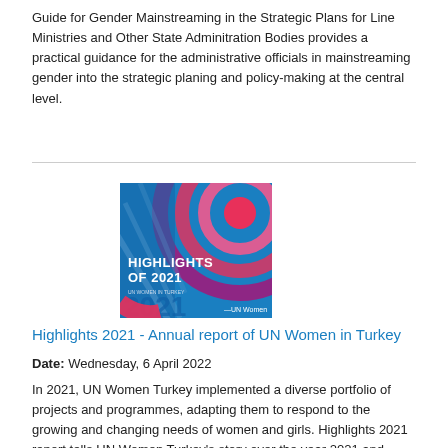Guide for Gender Mainstreaming in the Strategic Plans for Line Ministries and Other State Adminitration Bodies provides a practical guidance for the administrative officials in mainstreaming gender into the strategic planing and policy-making at the central level.
[Figure (illustration): Book cover of 'Highlights of 2021 - Annual report of UN Women in Turkey' with blue and pink concentric circle design on a blue background.]
Highlights 2021 - Annual report of UN Women in Turkey
Date: Wednesday, 6 April 2022
In 2021, UN Women Turkey implemented a diverse portfolio of projects and programmes, adapting them to respond to the growing and changing needs of women and girls. Highlights 2021 report tells UN Women Turkey's story over the year 2021 and presents its work and main results achieved under the programmes and campaigns.